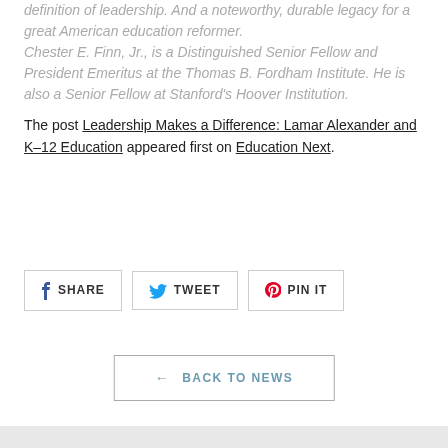definition of leadership. And a noteworthy, durable legacy for a great American education reformer. Chester E. Finn, Jr., is a Distinguished Senior Fellow and President Emeritus at the Thomas B. Fordham Institute. He is also a Senior Fellow at Stanford's Hoover Institution.
The post Leadership Makes a Difference: Lamar Alexander and K–12 Education appeared first on Education Next.
[Figure (other): Social sharing buttons: SHARE (Facebook), TWEET (Twitter), PIN IT (Pinterest)]
← BACK TO NEWS